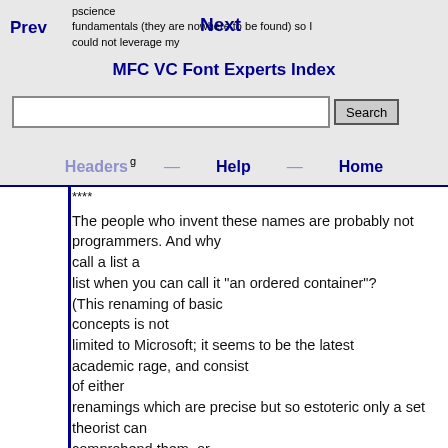Prev   Next   MFC VC Font Experts Index   Headers   Help   Home
****

The people who invent these names are probably not programmers. And why call a list a list when you can call it "an ordered container"? (This renaming of basic concepts is not limited to Microsoft; it seems to be the latest academic rage, and consist of either renamings which are precise but so estoteric only a set theorist can comprehend them, or "user-friendly" for poor naive students and therefore completely unintelligible to anyone who studied CS longer than five years ago)

****